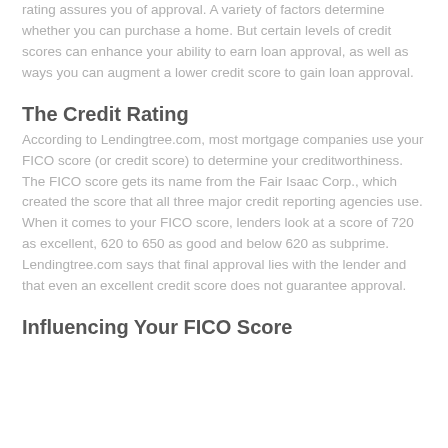rating assures you of approval. A variety of factors determine whether you can purchase a home. But certain levels of credit scores can enhance your ability to earn loan approval, as well as ways you can augment a lower credit score to gain loan approval.
The Credit Rating
According to Lendingtree.com, most mortgage companies use your FICO score (or credit score) to determine your creditworthiness. The FICO score gets its name from the Fair Isaac Corp., which created the score that all three major credit reporting agencies use. When it comes to your FICO score, lenders look at a score of 720 as excellent, 620 to 650 as good and below 620 as subprime. Lendingtree.com says that final approval lies with the lender and that even an excellent credit score does not guarantee approval.
Influencing Your FICO Score